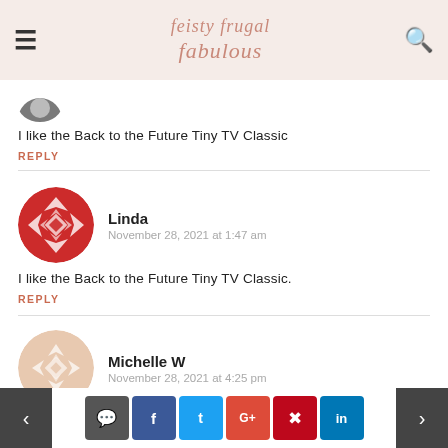feisty frugal fabulous — site header with hamburger menu and search icon
I like the Back to the Future Tiny TV Classic
REPLY
Linda — November 28, 2021 at 1:47 am
I like the Back to the Future Tiny TV Classic.
REPLY
Michelle W — November 28, 2021 at 4:25 pm
Navigation arrows and social share buttons: comment, facebook, twitter, google+, pinterest, linkedin